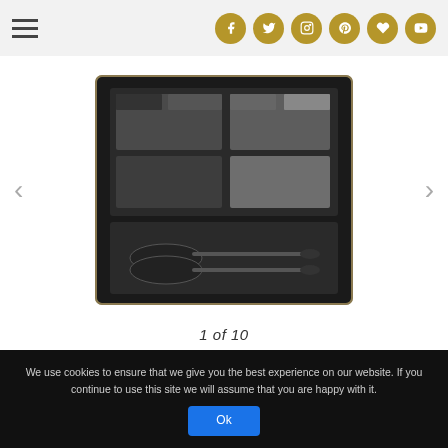Navigation header with hamburger menu and social media icons (Facebook, Twitter, Instagram, Pinterest, Heart/Bloglovin, YouTube)
[Figure (photo): Eyeshadow makeup palette with gray tones, applicators, shown open in black compact case]
1 of 10
[Figure (photo): Jimmy Choo advertisement showing a model in a black dress holding a decorative clutch bag]
JIMMY CHOO
We use cookies to ensure that we give you the best experience on our website. If you continue to use this site we will assume that you are happy with it. Ok